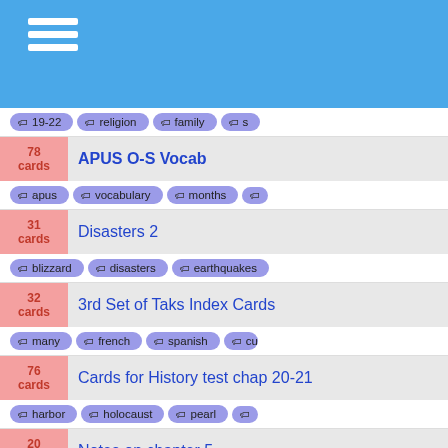Navigation menu header (blue bar)
Tags: 19-22, religion, family, s...
78 cards — APUS O-S Vocab — tags: apus, vocabulary, months
31 cards — Disasters 2 — tags: blizzard, disasters, earthquakes
32 cards — 3rd Set of Taks Index Cards — tags: many, french, spanish, cu...
76 cards — Cards for History test chap 20-21 — tags: harbor, holocaust, pearl
20 cards — Notes on chapter 5 — tags: geography, months, european
31 cards — history movie quiz — tags: histor, months, french, ci...
77 cards — (partially visible)